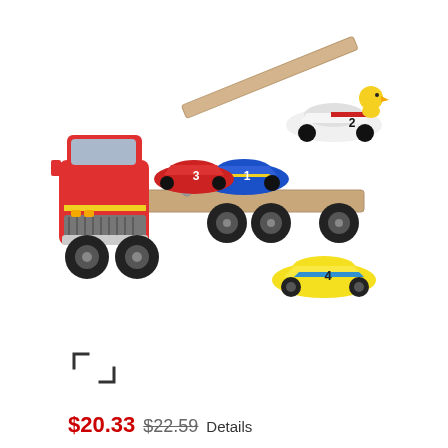[Figure (photo): Wooden toy car transporter set. A red semi-truck with a flatbed trailer that has a folding ramp. Three wooden race cars (numbered 1, 2, 3) are on the trailer and ramp. Car number 1 is blue/yellow, car number 2 is white/red, car number 3 is red. A yellow race car numbered 4 sits beside the trailer. A yellow duck figure sits on top of car 2.]
[Figure (other): Expand/fullscreen icon — two outward-pointing diagonal arrows forming a expand symbol]
$20.33  $22.59  Details